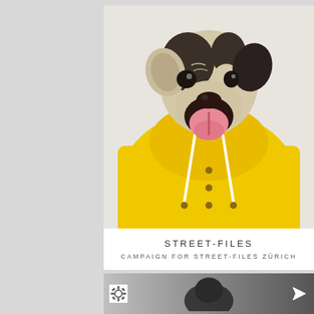[Figure (photo): A dog wearing a bright yellow hooded raincoat, mouth open as if barking or yawning, photographed against a light background. The dog appears to be a bulldog or similar breed.]
STREET-FILES
CAMPAIGN FOR STREET-FILES ZÜRICH
[Figure (photo): Partial view of a second card/image showing a dark figure, with a gear icon on the left and a send/arrow icon on the right, on a silver-to-dark gradient background.]